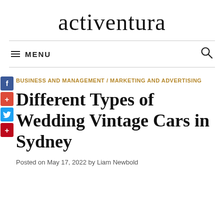activentura
≡ MENU
BUSINESS AND MANAGEMENT / MARKETING AND ADVERTISING
Different Types of Wedding Vintage Cars in Sydney
Posted on May 17, 2022 by Liam Newbold